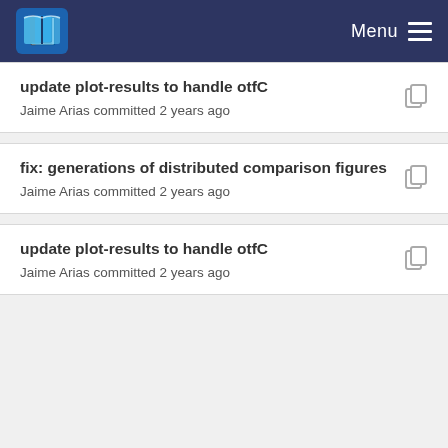Menu
update plot-results to handle otfC
Jaime Arias committed 2 years ago
fix: generations of distributed comparison figures
Jaime Arias committed 2 years ago
update plot-results to handle otfC
Jaime Arias committed 2 years ago